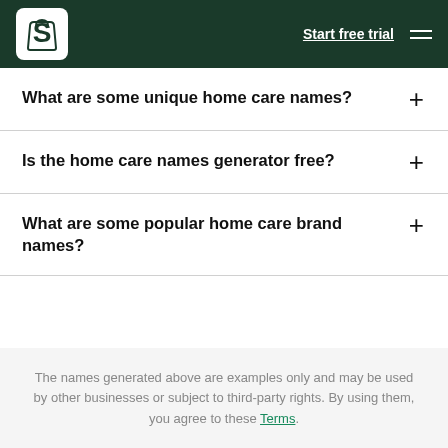Start free trial
What are some unique home care names?
Is the home care names generator free?
What are some popular home care brand names?
The names generated above are examples only and may be used by other businesses or subject to third-party rights. By using them, you agree to these Terms.